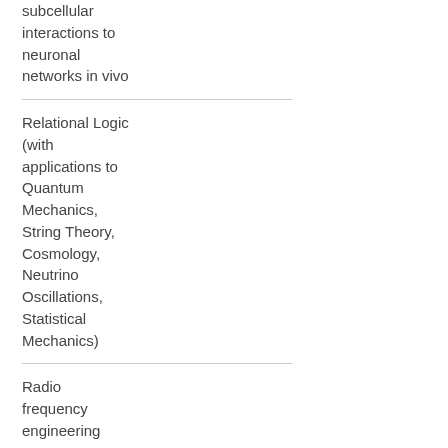subcellular interactions to neuronal networks in vivo
Relational Logic (with applications to Quantum Mechanics, String Theory, Cosmology, Neutrino Oscillations, Statistical Mechanics)
Radio frequency engineering
아직까지 알 수 없는 언어로 쓰인 텍스트
“Intertwined Orders in a Heavy-fermion